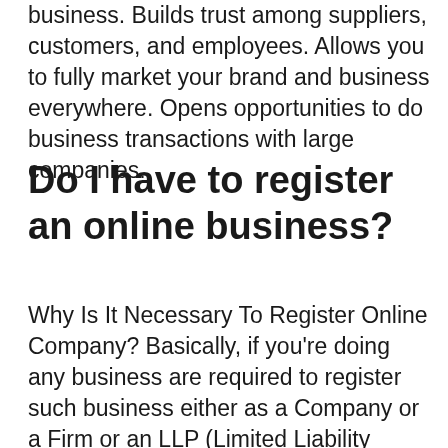business. Builds trust among suppliers, customers, and employees. Allows you to fully market your brand and business everywhere. Opens opportunities to do business transactions with large companies.
Do I have to register an online business?
Why Is It Necessary To Register Online Company? Basically, if you're doing any business are required to register such business either as a Company or a Firm or an LLP (Limited Liability Partnership). … When doing online business, you have to maintain a current account in the name of your business.